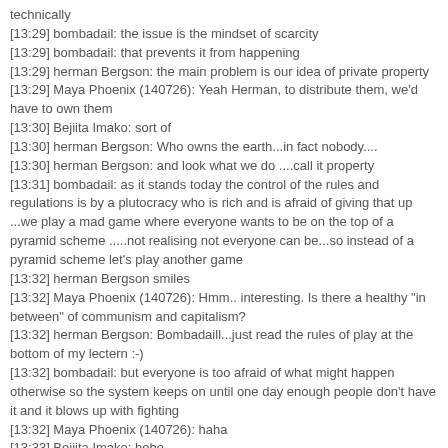technically
[13:29] bombadail: the issue is the mindset of scarcity
[13:29] bombadail: that prevents it from happening
[13:29] herman Bergson: the main problem is our idea of private property
[13:29] Maya Phoenix (140726): Yeah Herman, to distribute them, we'd have to own them
[13:30] Bejiita Imako: sort of
[13:30] herman Bergson: Who owns the earth...in fact nobody....
[13:30] herman Bergson: and look what we do ....call it property
[13:31] bombadail: as it stands today the control of the rules and regulations is by a plutocracy who is rich and is afraid of giving that up ...we play a mad game where everyone wants to be on the top of a pyramid scheme .....not realising not everyone can be...so instead of a pyramid scheme let's play another game
[13:32] herman Bergson smiles
[13:32] Maya Phoenix (140726): Hmm.. interesting. Is there a healthy "in between" of communism and capitalism?
[13:32] herman Bergson: Bombadaill...just read the rules of play at the bottom of my lectern :-)
[13:32] bombadail: but everyone is too afraid of what might happen otherwise so the system keeps on until one day enough people don't have it and it blows up with fighting
[13:32] Maya Phoenix (140726): haha
[13:33] Bejiita Imako: hehe
[13:33] herman Bergson: What is most interesting is that already in 1730 someone pointed at our present day problems :-)
[13:33] .: Beertje :. (beertje.beaumont): that's already happening Bombadail
[13:34] herman Bergson: amour propre :-)
[13:34] CB Axel: I think we'd be revolting right now except Survivor is on TV. We wouldn't want to miss that now, would we?
[13:34] Gemma (gemma.cleanslate): nothing under the sun is really new
[13:34] herman Bergson: You are new Gemma ^_^
[13:34] Gemma (gemma.cleanslate): not necessarily